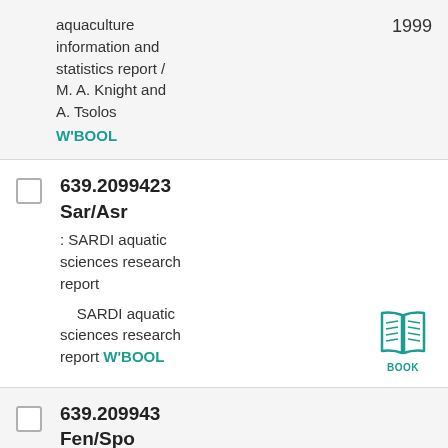aquaculture information and statistics report / M. A. Knight and A. Tsolos W'BOOL 1999
639.2099423 Sar/Asr : SARDI aquatic sciences research report SARDI aquatic sciences research report W'BOOL BOOK
639.209943 Fen/Spo